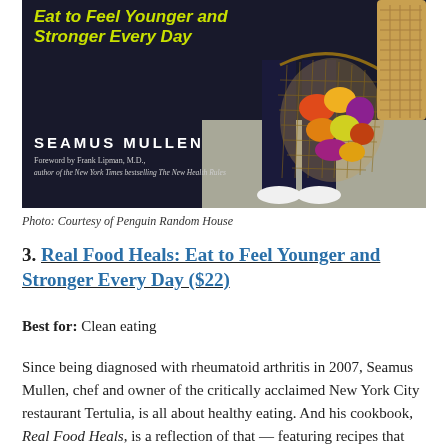[Figure (photo): Book cover of 'Real Food Heals: Eat to Feel Younger and Stronger Every Day' by Seamus Mullen, showing a person carrying a mesh bag full of colorful vegetables and produce, against a dark urban background. Yellow-green title text and white author name visible.]
Photo: Courtesy of Penguin Random House
3. Real Food Heals: Eat to Feel Younger and Stronger Every Day ($22)
Best for: Clean eating
Since being diagnosed with rheumatoid arthritis in 2007, Seamus Mullen, chef and owner of the critically acclaimed New York City restaurant Tertulia, is all about healthy eating. And his cookbook, Real Food Heals, is a reflection of that — featuring recipes that have helped him manage his autoimmune disease. Made with a bounty of vegetables,